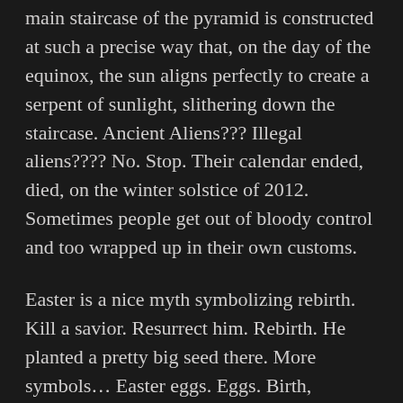main staircase of the pyramid is constructed at such a precise way that, on the day of the equinox, the sun aligns perfectly to create a serpent of sunlight, slithering down the staircase. Ancient Aliens??? Illegal aliens???? No. Stop. Their calendar ended, died, on the winter solstice of 2012. Sometimes people get out of bloody control and too wrapped up in their own customs.
Easter is a nice myth symbolizing rebirth. Kill a savior. Resurrect him. Rebirth. He planted a pretty big seed there. More symbols… Easter eggs. Eggs. Birth, fertility. Someone planted the seed that on the Equinox, you can balance an egg on its end. Well, don't try this at home. You will die trying. Some myths are out of bloody control. Some are even co-opted by bloody